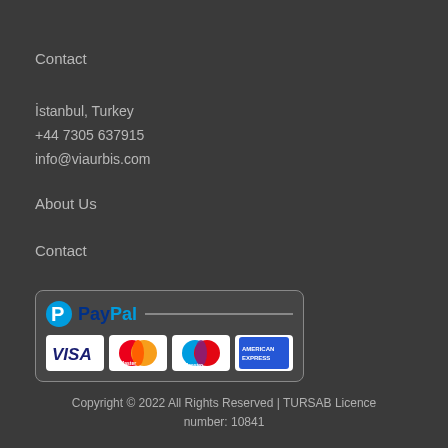Contact
İstanbul, Turkey
+44 7305 637915
info@viaurbis.com
About Us
Contact
[Figure (logo): PayPal payment widget showing PayPal logo with VISA, MasterCard, Maestro, and American Express card logos]
Copyright © 2022 All Rights Reserved | TURSAB Licence number: 10841